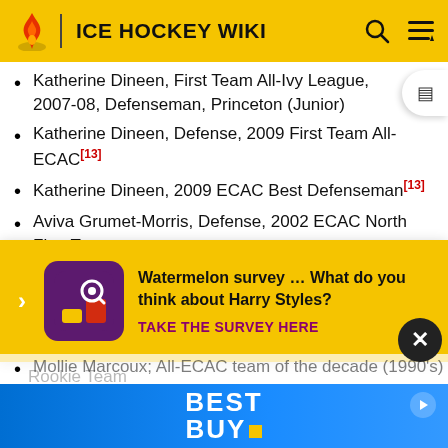ICE HOCKEY WIKI
Katherine Dineen, First Team All-Ivy League, 2007-08, Defenseman, Princeton (Junior)
Katherine Dineen, Defense, 2009 First Team All-ECAC[13]
Katherine Dineen, 2009 ECAC Best Defenseman[13]
Aviva Grumet-Morris, Defense, 2002 ECAC North First Team
Jeff Kampersal: 2002 ECAC North Coach of the [obscured]
J[obscured]
K[obscured]
Rookie Team
Mo[obscured]
Mollie Marcoux; All-ECAC team of the decade (1990's)
[Figure (screenshot): Survey ad overlay: Watermelon survey - What do you think about Harry Styles? TAKE THE SURVEY HERE]
[Figure (screenshot): Best Buy advertisement banner]